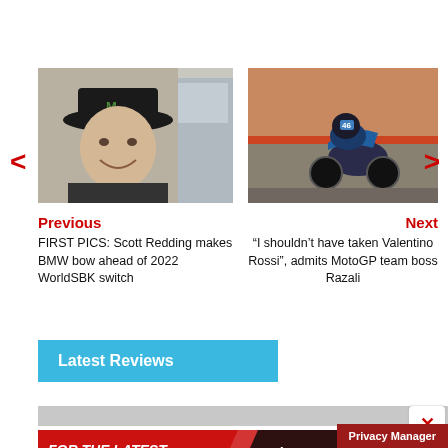[Figure (photo): Photo of Scott Redding wearing Monster Energy cap, smiling]
Previous
FIRST PICS: Scott Redding makes BMW bow ahead of 2022 WorldSBK switch
[Figure (photo): Photo of MotoGP rider on track, leaning into corner]
Next
“I shouldn’t have taken Valentino Rossi”, admits MotoGP team boss Razali
Latest Reviews
[Figure (infographic): Advertisement banner: FOR THE LATEST BIKE REVIEWS AND NEWS - Visordown YouTube channel]
Privacy Manager